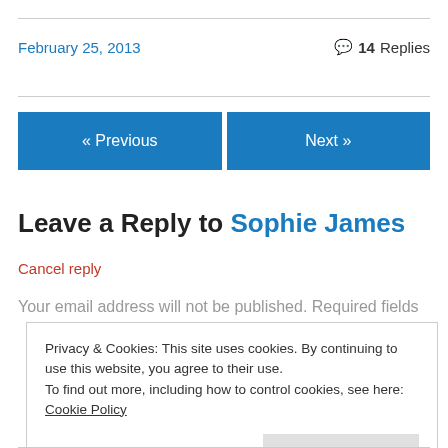February 25, 2013
14 Replies
« Previous
Next »
Leave a Reply to Sophie James
Cancel reply
Your email address will not be published. Required fields
Privacy & Cookies: This site uses cookies. By continuing to use this website, you agree to their use.
To find out more, including how to control cookies, see here: Cookie Policy
Close and accept